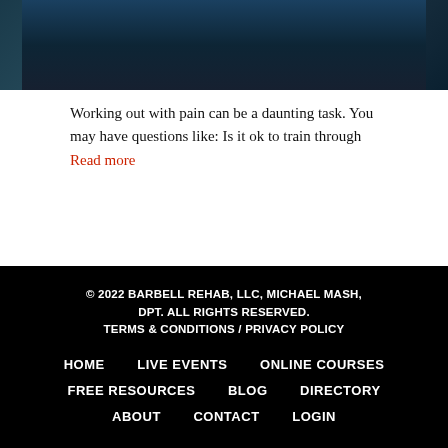[Figure (photo): Dark blue quilted/padded surface photograph, partial view at top of page]
Working out with pain can be a daunting task. You may have questions like: Is it ok to train through Read more
© 2022 BARBELL REHAB, LLC, MICHAEL MASH, DPT. ALL RIGHTS RESERVED. TERMS & CONDITIONS / PRIVACY POLICY
HOME   LIVE EVENTS   ONLINE COURSES
FREE RESOURCES   BLOG   DIRECTORY
ABOUT   CONTACT   LOGIN